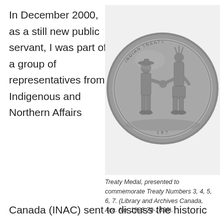In December 2000, as a still new public servant, I was part of a group of representatives from Indigenous and Northern Affairs
[Figure (photo): A circular Treaty Medal in silver/grey metal, showing two figures shaking hands — one in European colonial dress with a hat, one Indigenous figure with a headdress. Text around the rim reads 'INDIAN TREATY' and the date 1877 is visible at the bottom.]
Treaty Medal, presented to commemorate Treaty Numbers 3, 4, 5, 6, 7. (Library and Archives Canada, Acc. No. 1986-79-1638).
Canada (INAC) sent to discuss the historic